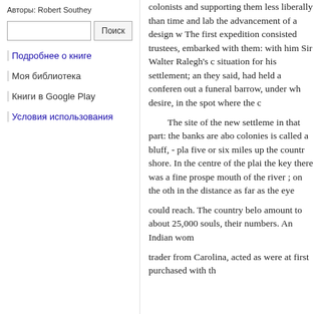Авторы: Robert Southey
Поиск
Подробнее о книге
Моя библиотека
Книги в Google Play
Условия использования
colonists and supporting them less liberally than time and lab the advancement of a design w The first expedition consisted trustees, embarked with them: with him Sir Walter Ralegh's c situation for his settlement; an they said, had held a conferen out a funeral barrow, under wh desire, in the spot where the c The site of the new settleme in that part: the banks are abo colonies is called a bluff, - pla five or six miles up the countr shore. In the centre of the plai the key there was a fine prospe mouth of the river ; on the oth in the distance as far as the eye could reach. The country belo amount to about 25,000 souls, their numbers. An Indian wom trader from Carolina, acted as were at first purchased with th